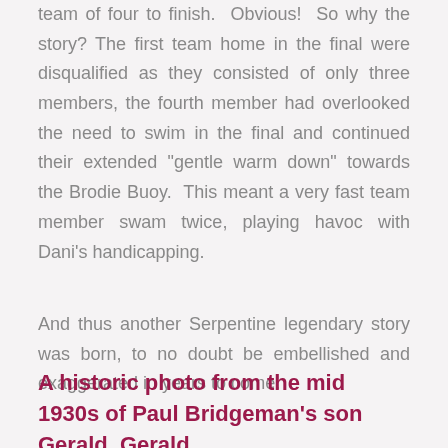team of four to finish.  Obvious!  So why the story?  The first team home in the final were disqualified as they consisted of only three members, the fourth member had overlooked the need to swim in the final and continued their extended "gentle warm down" towards the Brodie Buoy.  This meant a very fast team member swam twice, playing havoc with Dani's handicapping.
And thus another Serpentine legendary story was born, to no doubt be embellished and exaggerated in years to come.
A historic photo from the mid 1930s of Paul Bridgeman's son Gerald. Gerald